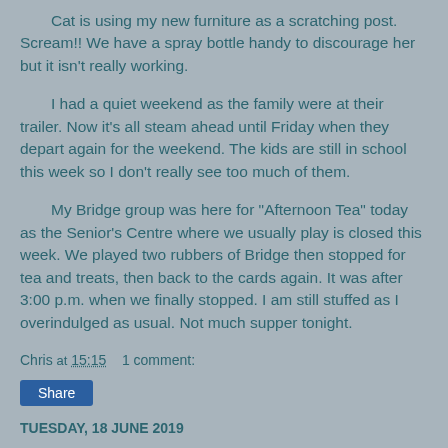Cat is using my new furniture as a scratching post. Scream!! We have a spray bottle handy to discourage her but it isn't really working.
I had a quiet weekend as the family were at their trailer. Now it's all steam ahead until Friday when they depart again for the weekend. The kids are still in school this week so I don't really see too much of them.
My Bridge group was here for "Afternoon Tea" today as the Senior's Centre where we usually play is closed this week. We played two rubbers of Bridge then stopped for tea and treats, then back to the cards again. It was after 3:00 p.m. when we finally stopped. I am still stuffed as I overindulged as usual. Not much supper tonight.
Chris at 15:15    1 comment:
Share
TUESDAY, 18 JUNE 2019